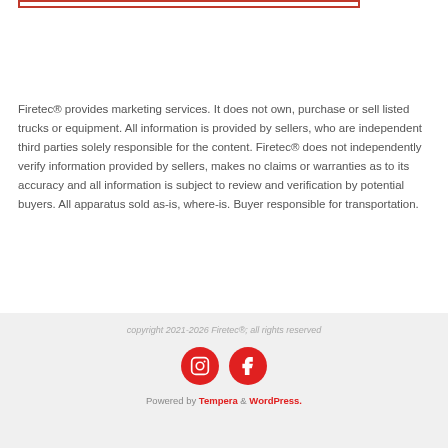Firetec® provides marketing services. It does not own, purchase or sell listed trucks or equipment. All information is provided by sellers, who are independent third parties solely responsible for the content. Firetec® does not independently verify information provided by sellers, makes no claims or warranties as to its accuracy and all information is subject to review and verification by potential buyers. All apparatus sold as-is, where-is. Buyer responsible for transportation.
copyright 2021-2026 Firetec®; all rights reserved
Powered by Tempera & WordPress.